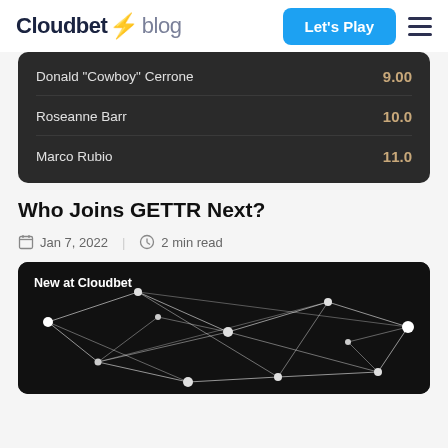Cloudbet blog
| Name | Odds |
| --- | --- |
| Donald "Cowboy" Cerrone | 9.00 |
| Roseanne Barr | 10.0 |
| Marco Rubio | 11.0 |
Who Joins GETTR Next?
Jan 7, 2022 | 2 min read
[Figure (illustration): Network graph image with white nodes and connecting lines on a dark background, labeled 'New at Cloudbet']